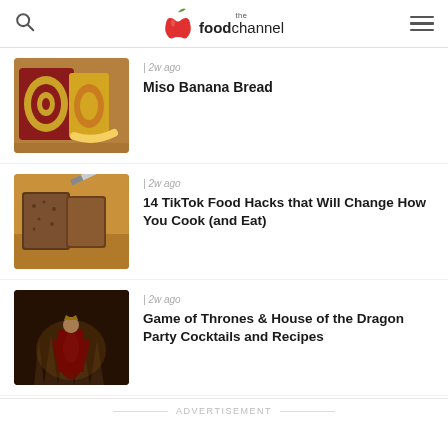the foodchannel
[Figure (photo): Sliced colorful swirl bread (miso banana bread) on a wooden board]
| 2w ago
Miso Banana Bread
[Figure (photo): Sliced brown bread on a wooden cutting board with a knife]
| 2w ago
14 TikTok Food Hacks that Will Change How You Cook (and Eat)
[Figure (photo): Fantasy character in a throne room – Game of Thrones / House of the Dragon]
| 2w ago
Game of Thrones & House of the Dragon Party Cocktails and Recipes
ADVERTISEMENT